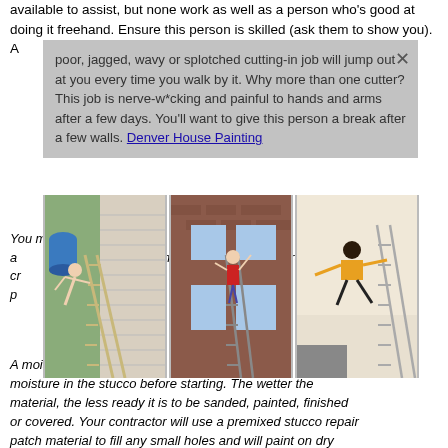available to assist, but none work as well as a person who's good at doing it freehand. Ensure this person is skilled (ask them to show you). A
poor, jagged, wavy or splotched cutting-in job will jump out at you every time you walk by it. Why more than one cutter? This job is nerve-wracking and painful to hands and arms after a few days. You'll want to give this person a break after a few walls. Denver House Painting
[Figure (photo): Three photos showing people doing dangerous house painting/repair work on ladders]
You may also want to consider other options such as repairing the siding, trim and priming. Get a professional in your area to come out and repair any cracks or damage, and patch up or repaint the affected areas. You may even painters Denver. A moisture in the stucco before starting. The wetter the material, the less ready it is to be sanded, painted, finished or covered. Your contractor will use a premixed stucco repair patch material to fill any small holes and will paint on dry days to avoid sealing in water. Painting rough stucco